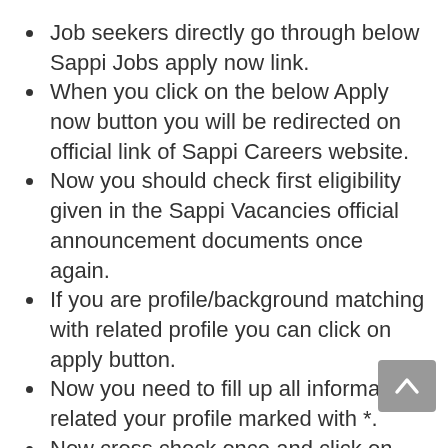Job seekers directly go through below Sappi Jobs apply now link.
When you click on the below Apply now button you will be redirected on official link of Sappi Careers website.
Now you should check first eligibility given in the Sappi Vacancies official announcement documents once again.
If you are profile/background matching with related profile you can click on apply button.
Now you need to fill up all information related your profile marked with *.
Now cross check once and click on the submit button.
Your application status will be show on your screen.